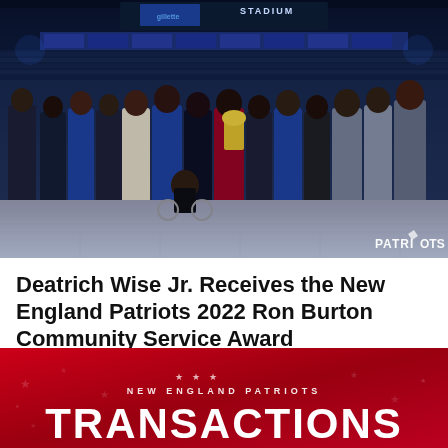[Figure (photo): Group photo of Deatrich Wise Jr. and New England Patriots personnel at Gillette Stadium during the 2022 Ron Burton Community Service Award presentation. Multiple men in suits posing together on a stage, with 'PATRIOTS' watermark in bottom right corner.]
Deatrich Wise Jr. Receives the New England Patriots 2022 Ron Burton Community Service Award
[Figure (infographic): New England Patriots Transactions graphic: red background with stars, 'NEW ENGLAND PATRIOTS' label above large white 'TRANSACTIONS' text.]